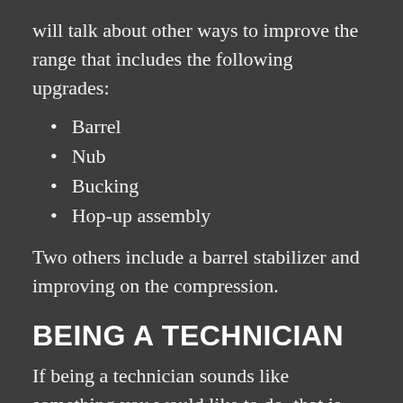will talk about other ways to improve the range that includes the following upgrades:
Barrel
Nub
Bucking
Hop-up assembly
Two others include a barrel stabilizer and improving on the compression.
BEING A TECHNICIAN
If being a technician sounds like something you would like to do, that is great. Having